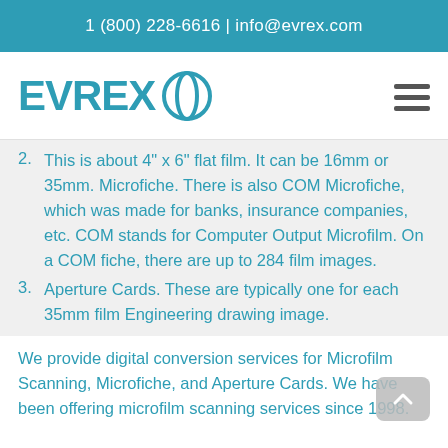1 (800) 228-6616 | info@evrex.com
[Figure (logo): EVREX logo with circular icon and hamburger menu icon]
2. This is about 4" x 6" flat film.  It can be 16mm or 35mm.  Microfiche. There is also COM Microfiche, which was made for banks, insurance companies, etc.  COM stands for Computer Output Microfilm. On a COM fiche, there are up to 284 film images.
3. Aperture Cards. These are typically one for each 35mm film Engineering drawing image.
We provide digital conversion services for Microfilm Scanning, Microfiche, and Aperture Cards. We have been offering microfilm scanning services since 1998.